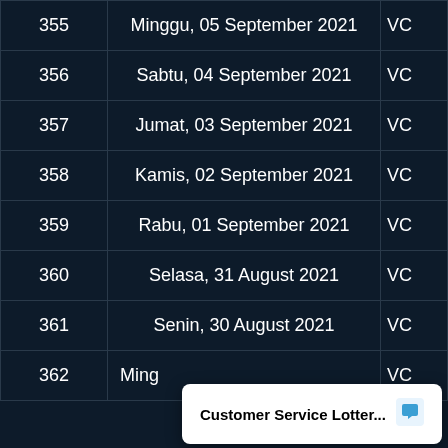| No | Tanggal | VC |
| --- | --- | --- |
| 355 | Minggu, 05 September 2021 | VC |
| 356 | Sabtu, 04 September 2021 | VC |
| 357 | Jumat, 03 September 2021 | VC |
| 358 | Kamis, 02 September 2021 | VC |
| 359 | Rabu, 01 September 2021 | VC |
| 360 | Selasa, 31 August 2021 | VC |
| 361 | Senin, 30 August 2021 | VC |
| 362 | Ming... | VC |
Customer Service Lotter...